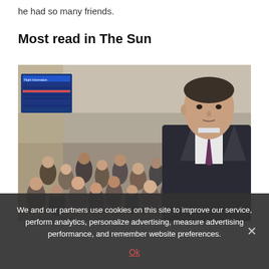he had so many friends.
Most read in The Sun
[Figure (photo): Crowded airport terminal with many travelers and a flight information board on the left, with a man in a dark suit and purple tie overlaid on the right side of the image.]
We and our partners use cookies on this site to improve our service, perform analytics, personalize advertising, measure advertising performance, and remember website preferences.
Ok